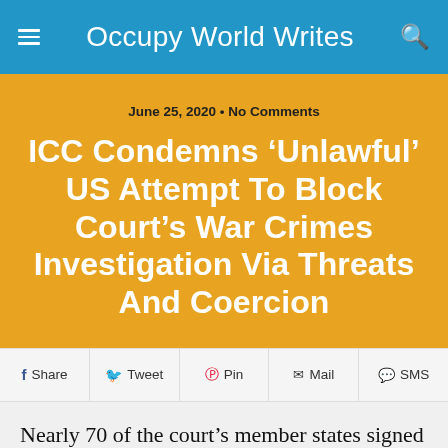Occupy World Writes
June 25, 2020 · No Comments
ICC Condemns ‘Unlawful’ US Attempt To Block Court’s War Crimes Investigation Via Threats And Coercion
Share  Tweet  Pin  Mail  SMS
Nearly 70 of the court’s member states signed a statement in support of the ICC.
By Julia Conley, staff writer for Common Dreams.